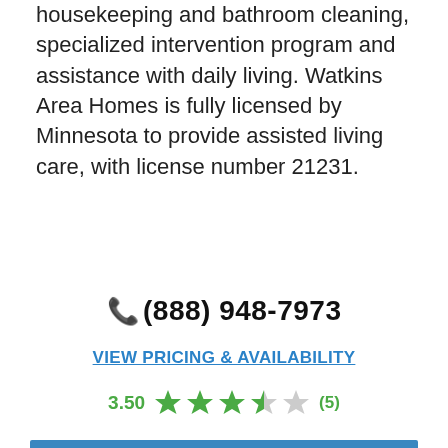housekeeping and bathroom cleaning, specialized intervention program and assistance with daily living. Watkins Area Homes is fully licensed by Minnesota to provide assisted living care, with license number 21231.
📞 (888) 948-7973
VIEW PRICING & AVAILABILITY
3.50 ★★★½☆ (5)
LEARN MORE
[Figure (photo): Partial photo of a person visible at bottom of page]